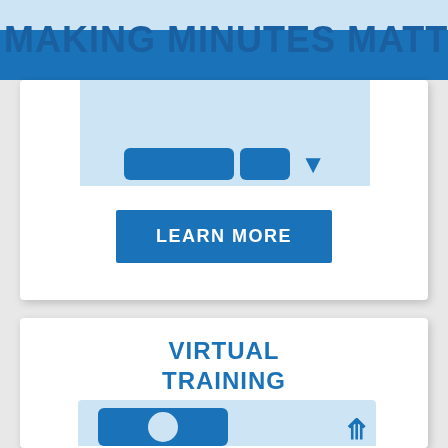MAKING MINUTES MATTER
[Figure (screenshot): Partial view of a card with blue button shapes and a light blue background, partially cropped]
[Figure (other): A blue 'LEARN MORE' button]
VIRTUAL TRAINING
[Figure (screenshot): Partial card image showing a light blue panel with a chevron/arrow icon and a monitor shape at the bottom, partially cropped]